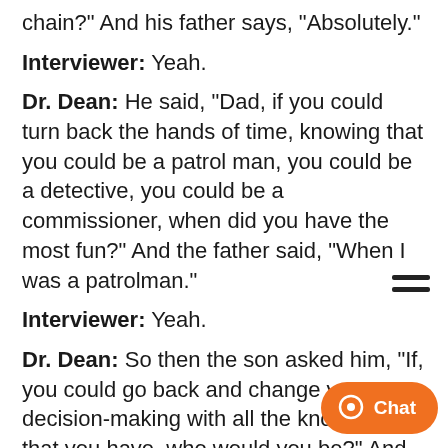chain?" And his father says, "Absolutely."
Interviewer: Yeah.
Dr. Dean: He said, "Dad, if you could turn back the hands of time, knowing that you could be a patrol man, you could be a detective, you could be a commissioner, when did you have the most fun?" And the father said, "When I was a patrolman."
Interviewer: Yeah.
Dr. Dean: So then the son asked him, "If, you could go back and change your decision-making with all the knowledge that you have, who would you be?" And the father said, "Exactly who yo... You'll see in society, not many pe...